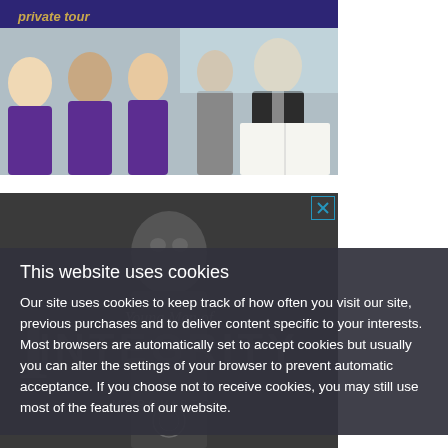[Figure (photo): Top portion showing dark purple/navy background with italic gold text 'private tour' and a photo of students in purple uniforms with a teacher reviewing documents]
[Figure (photo): Advertisement banner with dark background showing a young man in formal attire, with watermark text 'Young Men of INTEGRITY' and 'MERCHISTON' logo. Has a close button with X in top right.]
This website uses cookies
Our site uses cookies to keep track of how often you visit our site, previous purchases and to deliver content specific to your interests. Most browsers are automatically set to accept cookies but usually you can alter the settings of your browser to prevent automatic acceptance. If you choose not to receive cookies, you may still use most of the features of our website.